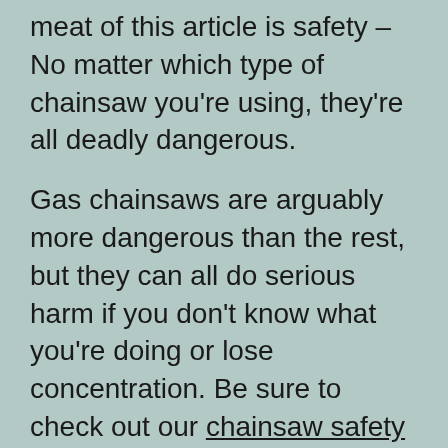meat of this article is safety – No matter which type of chainsaw you're using, they're all deadly dangerous.
Gas chainsaws are arguably more dangerous than the rest, but they can all do serious harm if you don't know what you're doing or lose concentration. Be sure to check out our chainsaw safety guide so you know how to keep safe. And you 'll definitely want to consider the best chainsaw chaps for you too.
With all that out of the way, let's get into the good stuff…